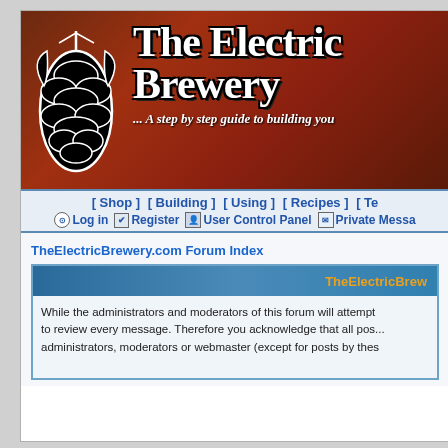[Figure (screenshot): The Electric Brewery website header banner with hop cone logo, site title 'The Electric Brewery', and subtitle '... A step by step guide to building you']
[ Shop ]   [ Building ]   [ Using ]   [ Recipes ]   [ Te...
Log in   Register   User Control Panel   Private Messa...
TheElectricBrewery.com Forum Index
TheElectricBrew...
While the administrators and moderators of this forum will attempt to review every message. Therefore you acknowledge that all pos... administrators, moderators or webmaster (except for posts by thes...